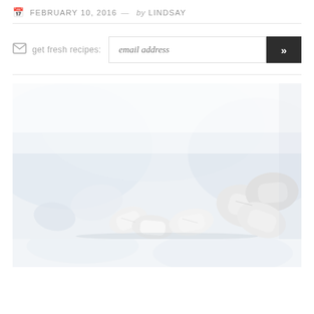FEBRUARY 10, 2016 — by LINDSAY
get fresh recipes:  email address
[Figure (photo): Close-up photograph of white mints or candy pieces scattered on a white marble surface, soft high-key lighting with blurred background]